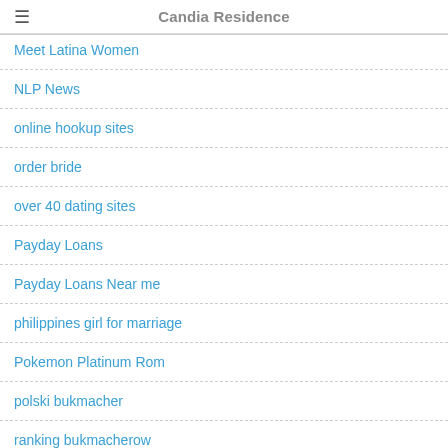Candia Residence
Meet Latina Women
NLP News
online hookup sites
order bride
over 40 dating sites
Payday Loans
Payday Loans Near me
philippines girl for marriage
Pokemon Platinum Rom
polski bukmacher
ranking bukmacherow
Real Mail Order Bride Sites